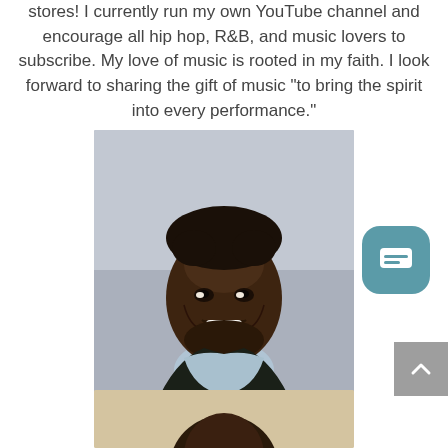stores! I currently run my own YouTube channel and encourage all hip hop, R&B, and music lovers to subscribe. My love of music is rooted in my faith. I look forward to sharing the gift of music "to bring the spirit into every performance."
[Figure (photo): Portrait photo of a smiling young Black man with short hair, wearing a light blue shirt and dark jacket, photographed in an indoor setting with blurred background.]
[Figure (photo): Partial view of another person's photo at the bottom of the page, showing the top of their head with curly hair against a warm/beige background.]